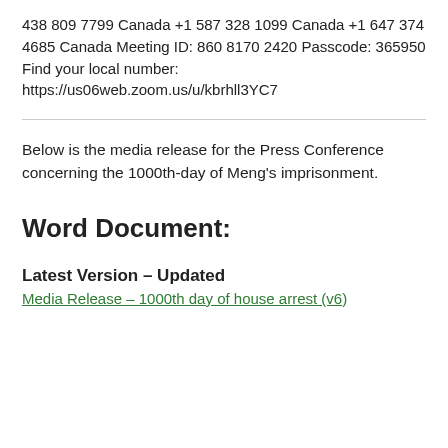438 809 7799 Canada +1 587 328 1099 Canada +1 647 374 4685 Canada Meeting ID: 860 8170 2420 Passcode: 365950 Find your local number: https://us06web.zoom.us/u/kbrhll3YC7
Below is the media release for the Press Conference concerning the 1000th-day of Meng’s imprisonment.
Word Document:
Latest Version – Updated
Media Release – 1000th day of house arrest (v6)